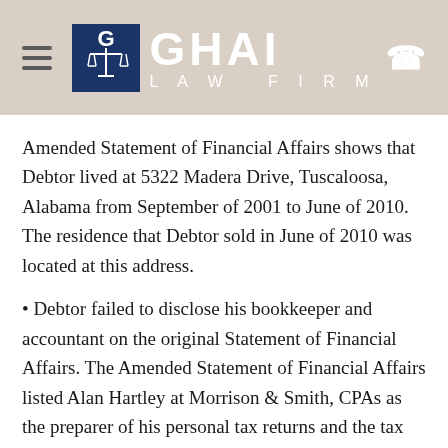[Figure (logo): Ghai Law Firm logo with scales of justice icon on dark blue background, firm name in white text]
Amended Statement of Financial Affairs shows that Debtor lived at 5322 Madera Drive, Tuscaloosa, Alabama from September of 2001 to June of 2010. The residence that Debtor sold in June of 2010 was located at this address.
Debtor failed to disclose his bookkeeper and accountant on the original Statement of Financial Affairs. The Amended Statement of Financial Affairs listed Alan Hartley at Morrison & Smith, CPAs as the preparer of his personal tax returns and the tax returns for the LLC. The